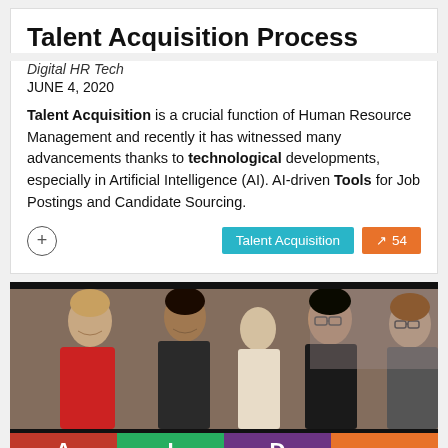Talent Acquisition Process
Digital HR Tech
JUNE 4, 2020
Talent Acquisition is a crucial function of Human Resource Management and recently it has witnessed many advancements thanks to technological developments, especially in Artificial Intelligence (AI). AI-driven Tools for Job Postings and Candidate Sourcing.
[Figure (photo): Group of professional women smiling and talking at what appears to be a networking or career event, with colorful logo bar at the bottom showing letters A, I, D and a wifi/signal icon in red, green, purple, and orange segments.]